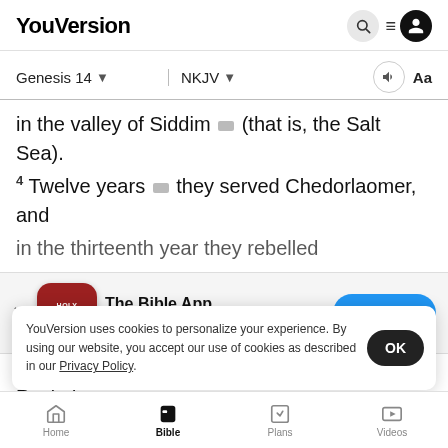YouVersion
Genesis 14  NKJV
in the valley of Siddim (that is, the Salt Sea).
4 Twelve years they served Chedorlaomer, and in the thirteenth year they rebelled
[Figure (screenshot): The Bible App download banner with Holy Bible icon, 4.9 stars, 7.9M ratings, and Download button]
that were with him came and attacked
Rephai
Ham,
YouVersion uses cookies to personalize your experience. By using our website, you accept our use of cookies as described in our Privacy Policy.
Home  Bible  Plans  Videos